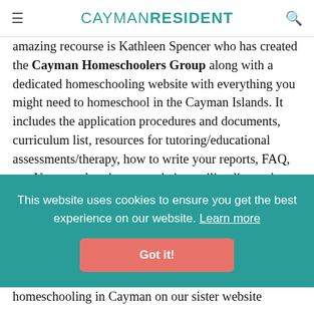CAYMANRESIDENT
amazing recourse is Kathleen Spencer who has created the Cayman Homeschoolers Group along with a dedicated homeschooling website with everything you might need to homeschool in the Cayman Islands. It includes the application procedures and documents, curriculum list, resources for tutoring/educational assessments/therapy, how to write your reports, FAQ, etc. You can also sign up to their emailing list so that you are kept in the loop on homeschooling and on
This website uses cookies to ensure you get the best experience on our website. Learn more
Got it!
homeschooling in Cayman on our sister website